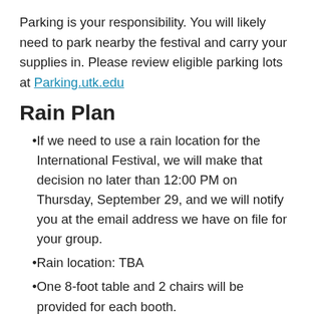Parking is your responsibility. You will likely need to park nearby the festival and carry your supplies in. Please review eligible parking lots at Parking.utk.edu
Rain Plan
If we need to use a rain location for the International Festival, we will make that decision no later than 12:00 PM on Thursday, September 29, and we will notify you at the email address we have on file for your group.
Rain location: TBA
One 8-foot table and 2 chairs will be provided for each booth.
Since the ballroom has carpet, please make every effort to avoid spills from food and drinks. We know some spills are unavoidable, but please notify an